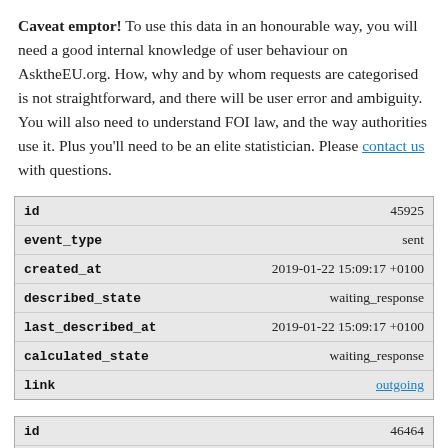Caveat emptor! To use this data in an honourable way, you will need a good internal knowledge of user behaviour on AsktheEU.org. How, why and by whom requests are categorised is not straightforward, and there will be user error and ambiguity. You will also need to understand FOI law, and the way authorities use it. Plus you'll need to be an elite statistician. Please contact us with questions.
| id | 45925 |
| event_type | sent |
| created_at | 2019-01-22 15:09:17 +0100 |
| described_state | waiting_response |
| last_described_at | 2019-01-22 15:09:17 +0100 |
| calculated_state | waiting_response |
| link | outgoing |
| id | 46464 |
| event_type | response |
| created_at | 2019-02-07 17:22:09 +0100 |